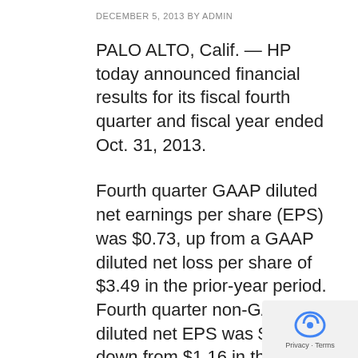DECEMBER 5, 2013 BY ADMIN
PALO ALTO, Calif. — HP today announced financial results for its fiscal fourth quarter and fiscal year ended Oct. 31, 2013.
Fourth quarter GAAP diluted net earnings per share (EPS) was $0.73, up from a GAAP diluted net loss per share of $3.49 in the prior-year period. Fourth quarter non-GAAP diluted net EPS was $1.01, down from $1.16 in the prior-year period. Fourth quarter non-GAAP net earnings and non-